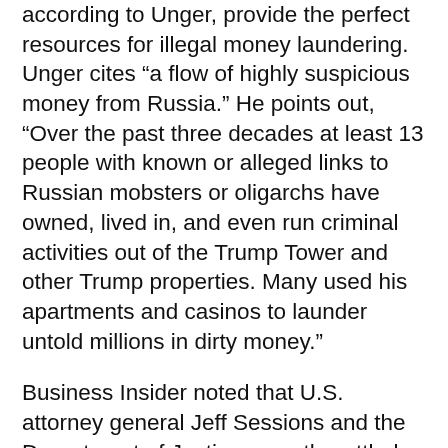according to Unger, provide the perfect resources for illegal money laundering. Unger cites “a flow of highly suspicious money from Russia.” He points out, “Over the past three decades at least 13 people with known or alleged links to Russian mobsters or oligarchs have owned, lived in, and even run criminal activities out of the Trump Tower and other Trump properties. Many used his apartments and casinos to launder untold millions in dirty money.”
Business Insider noted that U.S. attorney general Jeff Sessions and the Department of Justice recently settled a major money-laundering case involving a real estate company owned by the son of powerful Russian government official Pyotr Katsyz, former vice governor of the Moscow region. Katsyz’s son Dennis owns the real estate company Prebezon, which was accused of laundering millions of dollars through New York City real estate when the case was “unexpectedly settled two days before going to trial in May,” according to Business